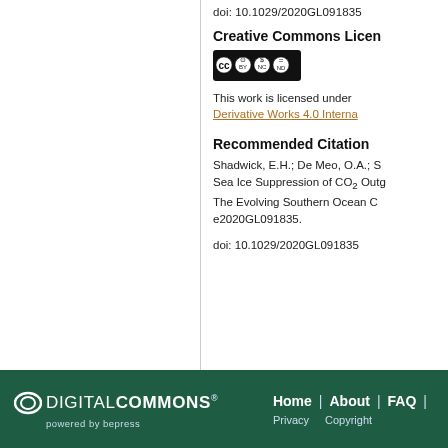doi: 10.1029/2020GL091835
Creative Commons Licen...
[Figure (logo): Creative Commons BY-NC-ND license badge]
This work is licensed under Derivative Works 4.0 Interna...
Recommended Citation
Shadwick, E.H.; De Meo, O.A.; S... Sea Ice Suppression of CO2 Outg... The Evolving Southern Ocean C... e2020GL091835.
doi: 10.1029/2020GL091835
Digital Commons powered by bepress | Home | About | FAQ | Privacy | Copyright